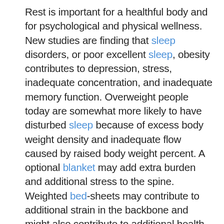Rest is important for a healthful body and for psychological and physical wellness. New studies are finding that sleep disorders, or poor excellent sleep, obesity contributes to depression, stress, inadequate concentration, and inadequate memory function. Overweight people today are somewhat more likely to have disturbed sleep because of excess body weight density and inadequate flow caused by raised body weight percent. A optional blanket may add extra burden and additional stress to the spine. Weighted bed-sheets may contribute to additional strain in the backbone and might also contribute to additional health conditions such as back ache, poor posture, and pain from different fields of the body.